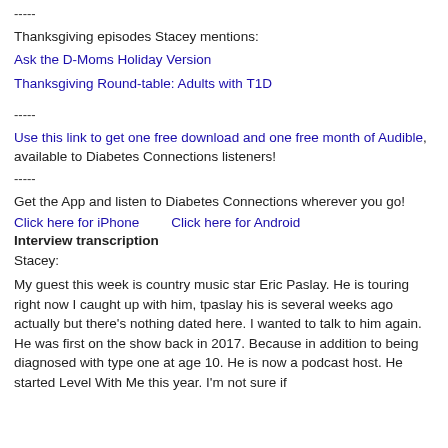-----
Thanksgiving episodes Stacey mentions:
Ask the D-Moms Holiday Version
Thanksgiving Round-table: Adults with T1D
-----
Use this link to get one free download and one free month of Audible, available to Diabetes Connections listeners!
-----
Get the App and listen to Diabetes Connections wherever you go!
Click here for iPhone    Click here for Android
Interview transcription
Stacey:
My guest this week is country music star Eric Paslay. He is touring right now I caught up with him, tpaslay his is several weeks ago actually but there's nothing dated here. I wanted to talk to him again. He was first on the show back in 2017. Because in addition to being diagnosed with type one at age 10. He is now a podcast host. He started Level With Me this year. I'm not sure if